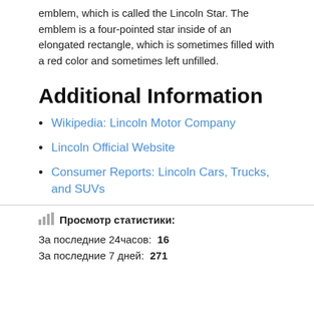emblem, which is called the Lincoln Star. The emblem is a four-pointed star inside of an elongated rectangle, which is sometimes filled with a red color and sometimes left unfilled.
Additional Information
Wikipedia: Lincoln Motor Company
Lincoln Official Website
Consumer Reports: Lincoln Cars, Trucks, and SUVs
Просмотр статистики: За последние 24часов: 16 За последние 7 дней: 271